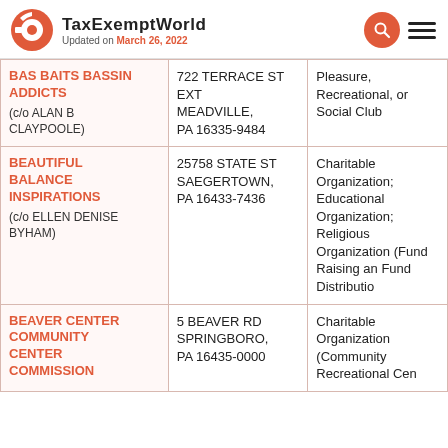TaxExemptWorld — Updated on March 26, 2022
| Organization | Address | Type |
| --- | --- | --- |
| BAS BAITS BASSIN ADDICTS (c/o ALAN B CLAYPOOLE) | 722 TERRACE ST EXT MEADVILLE, PA 16335-9484 | Pleasure, Recreational, or Social Club |
| BEAUTIFUL BALANCE INSPIRATIONS (c/o ELLEN DENISE BYHAM) | 25758 STATE ST SAEGERTOWN, PA 16433-7436 | Charitable Organization; Educational Organization; Religious Organization (Fund Raising and Fund Distribution) |
| BEAVER CENTER COMMUNITY CENTER COMMISSION | 5 BEAVER RD SPRINGBORO, PA 16435-0000 | Charitable Organization (Community Recreational Center |